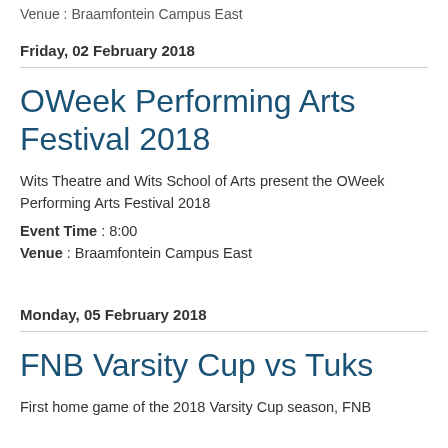Venue : Braamfontein Campus East
Friday, 02 February 2018
OWeek Performing Arts Festival 2018
Wits Theatre and Wits School of Arts present the OWeek Performing Arts Festival 2018
Event Time : 8:00
Venue : Braamfontein Campus East
Monday, 05 February 2018
FNB Varsity Cup vs Tuks
First home game of the 2018 Varsity Cup season, FNB